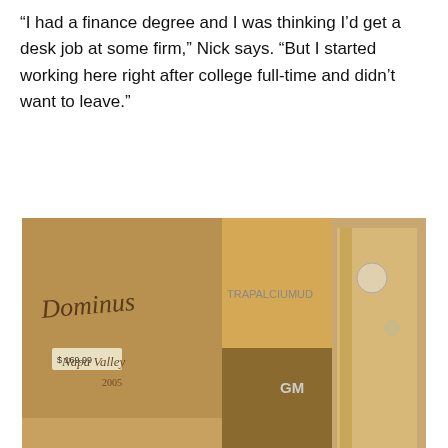“I had a finance degree and I was thinking I’d get a desk job at some firm,” Nick says. “But I started working here right after college full-time and didn’t want to leave.”
[Figure (photo): Interior of a wine storage room showing wooden crates and boxes of wine, including Dominus Napa Valley 2005 and Gaja labels stacked in rows.]
New Privacy Policy
Privacy Preferences
I Agree
Generational Change
Founder Jack Yunger, sad… in mid-2015. But he se…